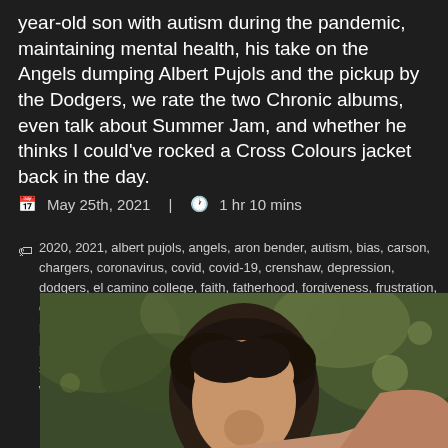year-old son with autism during the pandemic, maintaining mental health, his take on the Angels dumping Albert Pujols and the pickup by the Dodgers, we rate the two Chronic albums, even talk about Summer Jam, and whether he thinks I could've rocked a Cross Colours jacket back in the day.
May 25th, 2021  |  1 hr 10 mins
2020, 2021, albert pujols, angels, aron bender, autism, bias, carson, chargers, coronavirus, covid, covid-19, crenshaw, depression, dodgers, el camino college, faith, fatherhood, forgiveness, frustration, god, grief, hard work, identity, instagram, journalism, joy, lakers, loss, love, mental health, mike trout, mlb, news, nfl, nhl, pandemic, podcast, positivity, racism, radio, rams, recovery, religion, self care, self love, struggle, success, therapy, tiktok, tv news, twitter, westchester, widower, wife, youtube
[Figure (photo): Photo of a person, partial face visible from forehead to nose, dark hair, outdoor background with green foliage and light bokeh]